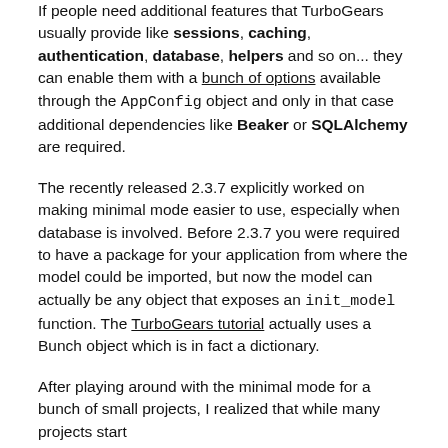If people need additional features that TurboGears usually provide like sessions, caching, authentication, database, helpers and so on... they can enable them with a bunch of options available through the AppConfig object and only in that case additional dependencies like Beaker or SQLAlchemy are required.
The recently released 2.3.7 explicitly worked on making minimal mode easier to use, especially when database is involved. Before 2.3.7 you were required to have a package for your application from where the model could be imported, but now the model can actually be any object that exposes an init_model function. The TurboGears tutorial actually uses a Bunch object which is in fact a dictionary.
After playing around with the minimal mode for a bunch of small projects, I realized that while many projects start